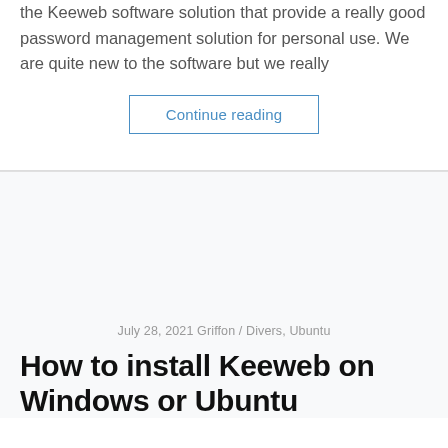the Keeweb software solution that provide a really good password management solution for personal use.  We are quite new to the software but we really
Continue reading
July 28, 2021 Griffon / Divers, Ubuntu
How to install Keeweb on Windows or Ubuntu